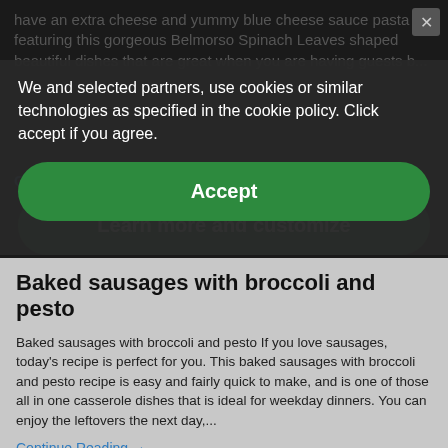have an extra cheese and yummy blue cheese sauce pasta featuring this gorgeous Belmorso Spinach Leaves shaped beautiful dishes that are great when you are having guests b...
We and selected partners, use cookies or similar technologies as specified in the cookie policy. Click accept if you agree.
Accept
Continue Reading →
Learn more and customize
Baked sausages with broccoli and pesto
Baked sausages with broccoli and pesto If you love sausages, today's recipe is perfect for you. This baked sausages with broccoli and pesto recipe is easy and fairly quick to make, and is one of those all in one casserole dishes that is ideal for weekday dinners. You can enjoy the leftovers the next day,...
Continue Reading →